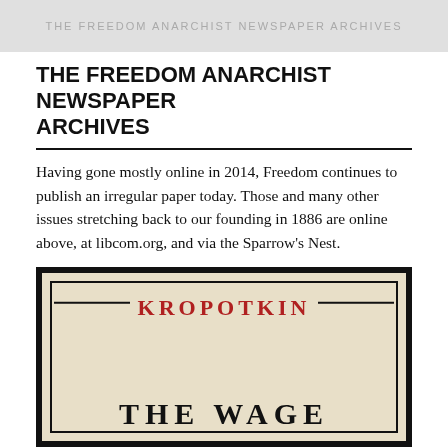THE FREEDOM ANARCHIST NEWSPAPER ARCHIVES
THE FREEDOM ANARCHIST NEWSPAPER ARCHIVES
Having gone mostly online in 2014, Freedom continues to publish an irregular paper today. Those and many other issues stretching back to our founding in 1886 are online above, at libcom.org, and via the Sparrow’s Nest.
[Figure (illustration): Cover of a Kropotkin pamphlet on beige/tan background with heavy black border and inner black border. The word KROPOTKIN appears in large red serif letters centered at top with decorative horizontal rules on either side. At the bottom, large black serif capital letters begin spelling THE WAGE (the rest is cut off by the image crop).]